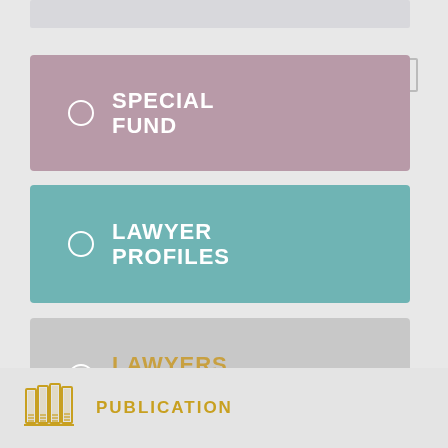[Figure (infographic): Navigation menu item card with mauve/purple background, radio button circle, text: SPECIAL FUND]
[Figure (infographic): Navigation menu item card with teal/green background, radio button circle, text: LAWYER PROFILES]
[Figure (infographic): Navigation menu item card with light gray background, radio button circle, gold text: LAWYERS DATABASE]
[Figure (infographic): Footer section with book/library icon and gold text: PUBLICATION]